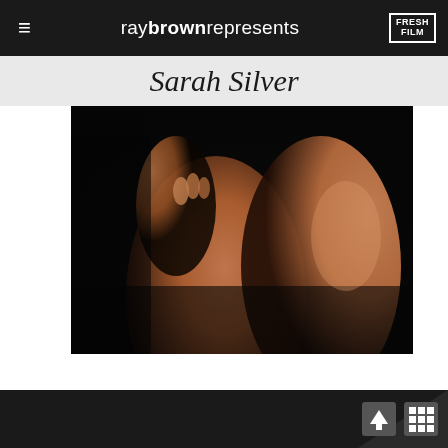≡  raybrownrepresents  FRESH FILM
Sarah Silver
[Figure (photo): Close-up artistic photo of a person's torso and legs against a dark background, warm skin tones, dramatic lighting.]
↑  ⊞